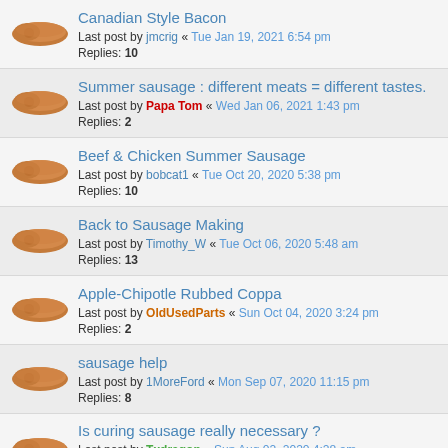Canadian Style Bacon
Last post by jmcrig « Tue Jan 19, 2021 6:54 pm
Replies: 10
Summer sausage : different meats = different tastes.
Last post by Papa Tom « Wed Jan 06, 2021 1:43 pm
Replies: 2
Beef & Chicken Summer Sausage
Last post by bobcat1 « Tue Oct 20, 2020 5:38 pm
Replies: 10
Back to Sausage Making
Last post by Timothy_W « Tue Oct 06, 2020 5:48 am
Replies: 13
Apple-Chipotle Rubbed Coppa
Last post by OldUsedParts « Sun Oct 04, 2020 3:24 pm
Replies: 2
sausage help
Last post by 1MoreFord « Mon Sep 07, 2020 11:15 pm
Replies: 8
Is curing sausage really necessary ?
Last post by Txdragon « Sun Aug 02, 2020 4:28 am
Replies: 22
Smoked Bologna